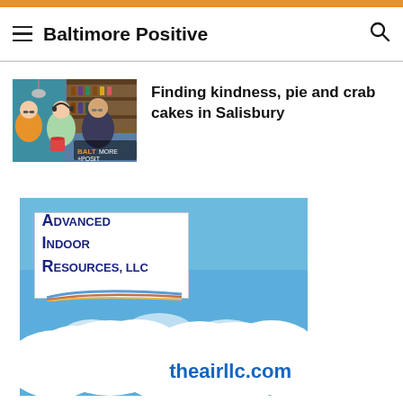Baltimore Positive
[Figure (photo): Thumbnail photo of people in a restaurant, with 'Baltimore Positive' overlay text]
Finding kindness, pie and crab cakes in Salisbury
[Figure (logo): Advertisement for Advanced Indoor Resources, LLC (theairllc.com) showing company logo on white box over a blue sky with clouds background]